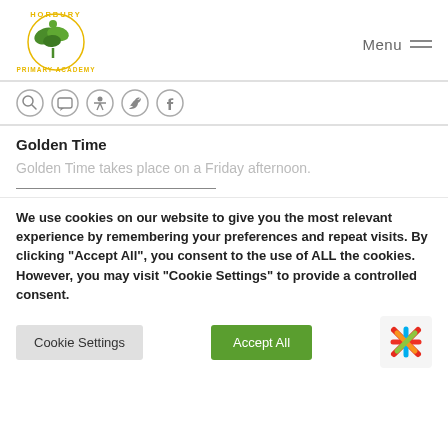[Figure (logo): Horbury Primary Academy circular logo with plant/leaves illustration in green and yellow text]
Menu
Golden Time
Golden Time takes place on a Friday afternoon.
We use cookies on our website to give you the most relevant experience by remembering your preferences and repeat visits. By clicking "Accept All", you consent to the use of ALL the cookies. However, you may visit "Cookie Settings" to provide a controlled consent.